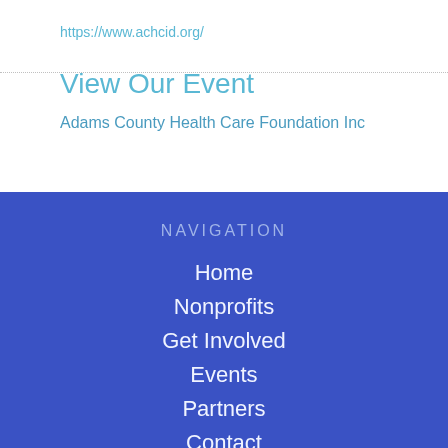https://www.achcid.org/
View Our Event
Adams County Health Care Foundation Inc
NAVIGATION
Home
Nonprofits
Get Involved
Events
Partners
Contact